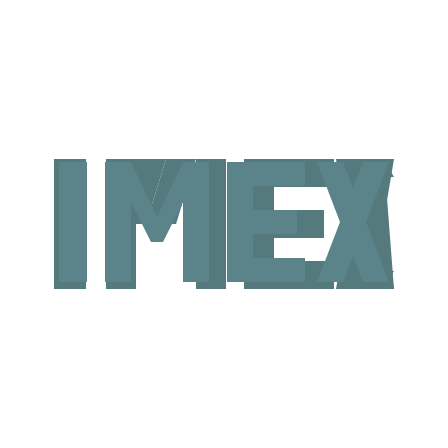[Figure (logo): IMEX logo in teal/slate blue-green color, bold geometric sans-serif lettering]